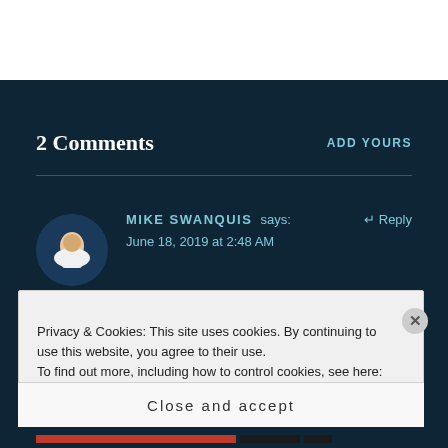2 Comments
ADD YOURS
[Figure (photo): Avatar photo of Mike Swanquis, a person in white clothing on a blue circular background]
MIKE SWANQUIS says:
↵ Reply
June 18, 2019 at 2:48 AM
Privacy & Cookies: This site uses cookies. By continuing to use this website, you agree to their use.
To find out more, including how to control cookies, see here: Cookie Policy
Close and accept